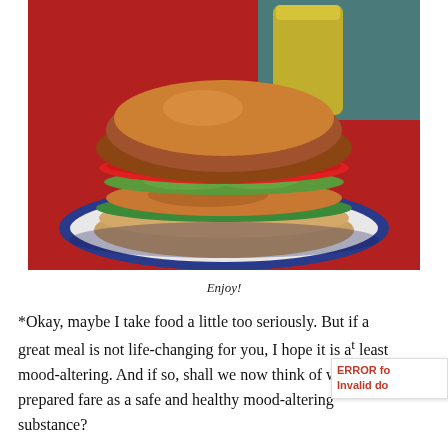[Figure (photo): A grilled chicken sandwich with tomato and avocado on a decorative blue and white plate, with a glass of yellow juice in the background, placed on a red tablecloth.]
Enjoy!
*Okay, maybe I take food a little too seriously. But if a great meal is not life-changing for you, I hope it is at least mood-altering. And if so, shall we now think of well-prepared fare as a safe and healthy mood-altering substance?